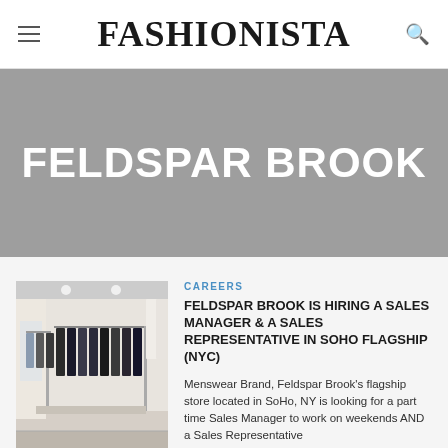FASHIONISTA
FELDSPAR BROOK
[Figure (photo): Interior of a menswear retail store in SoHo with clothing racks lined with dark garments and white walls]
CAREERS
FELDSPAR BROOK IS HIRING A SALES MANAGER & A SALES REPRESENTATIVE IN SOHO FLAGSHIP (NYC)
Menswear Brand, Feldspar Brook's flagship store located in SoHo, NY is looking for a part time Sales Manager to work on weekends AND a Sales Representative